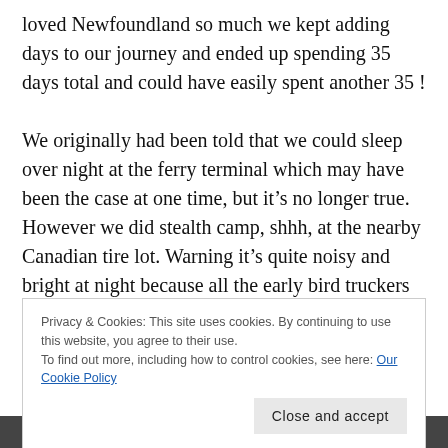loved Newfoundland so much we kept adding days to our journey and ended up spending 35 days total and could have easily spent another 35 !

We originally had been told that we could sleep over night at the ferry terminal which may have been the case at one time, but it's no longer true.  However we did stealth camp, shhh, at the nearby Canadian tire lot. Warning it's quite noisy and bright at night because all the early bird truckers use the same parking lot !
Privacy & Cookies: This site uses cookies. By continuing to use this website, you agree to their use.
To find out more, including how to control cookies, see here: Our Cookie Policy
Close and accept
[Figure (photo): Dark image strip at the bottom of the page]